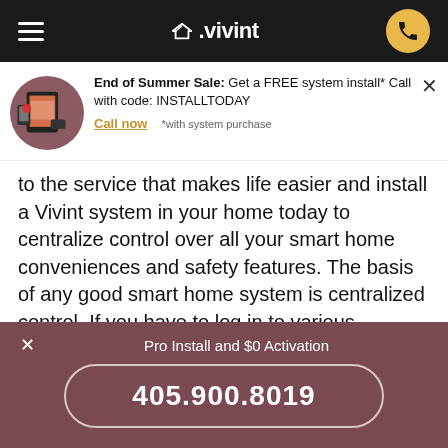Vivint navigation bar with logo and phone button
End of Summer Sale: Get a FREE system install* Call with code: INSTALLTODAY
Call now   *with system purchase
to the service that makes life easier and install a Vivint system in your home today to centralize control over all your smart home conveniences and safety features. The basis of any good smart home system is centralized control. If you have to log in to various accounts on different apps just to control your home's alarm system and convenient smart devices, that's not really a 'smart' system. Vivint Smart Drive includes an intelligence layer called Vivint Smart Hub that streamlines the communications
Pro Install and $0 Activation
405.900.8019